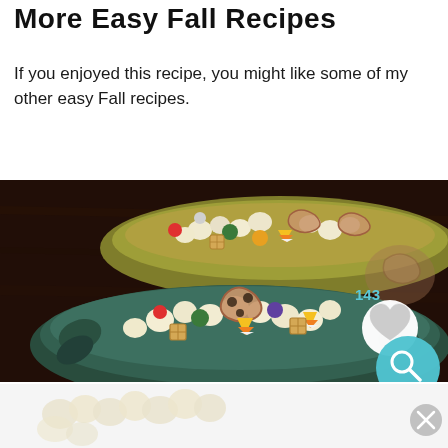More Easy Fall Recipes
If you enjoyed this recipe, you might like some of my other easy Fall recipes.
[Figure (photo): Two decorative bowls filled with a Halloween/Fall snack mix containing popcorn, pretzels, candy corn, M&Ms, and Chex cereal, photographed on a dark wooden surface. Number 143 and heart/search overlay buttons visible.]